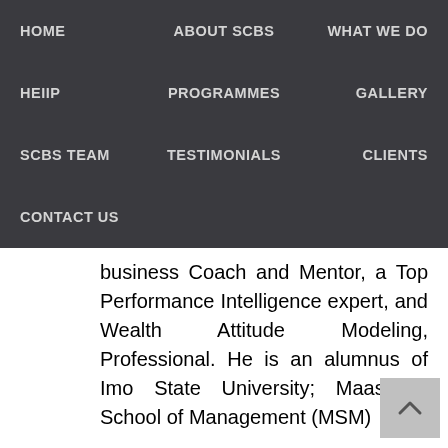HOME | ABOUT SCBS | WHAT WE DO | HEIIP | PROGRAMMES | GALLERY | SCBS TEAM | TESTIMONIALS | CLIENTS | CONTACT US
business Coach and Mentor, a Top Performance Intelligence expert, and Wealth Attitude Modeling, Professional. He is an alumnus of Imo State University; Maastricht School of Management (MSM)